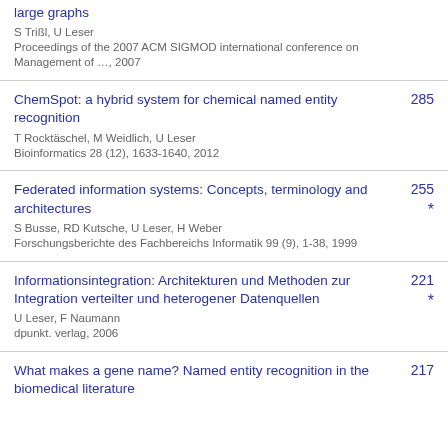large graphs
S Trißl, U Leser
Proceedings of the 2007 ACM SIGMOD international conference on Management of …, 2007
ChemSpot: a hybrid system for chemical named entity recognition
T Rocktäschel, M Weidlich, U Leser
Bioinformatics 28 (12), 1633-1640, 2012
285
Federated information systems: Concepts, terminology and architectures
S Busse, RD Kutsche, U Leser, H Weber
Forschungsberichte des Fachbereichs Informatik 99 (9), 1-38, 1999
255 *
Informationsintegration: Architekturen und Methoden zur Integration verteilter und heterogener Datenquellen
U Leser, F Naumann
dpunkt. verlag, 2006
221 *
What makes a gene name? Named entity recognition in the biomedical literature
217